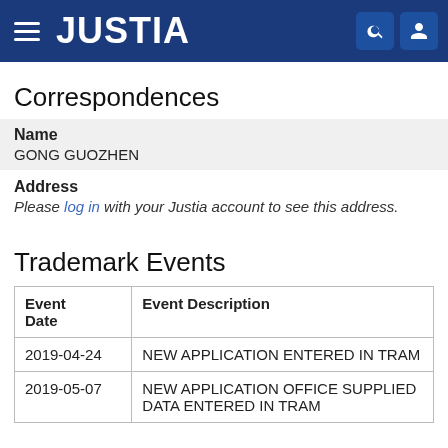JUSTIA
Correspondences
Name
GONG GUOZHEN
Address
Please log in with your Justia account to see this address.
Trademark Events
| Event Date | Event Description |
| --- | --- |
| 2019-04-24 | NEW APPLICATION ENTERED IN TRAM |
| 2019-05-07 | NEW APPLICATION OFFICE SUPPLIED DATA ENTERED IN TRAM |